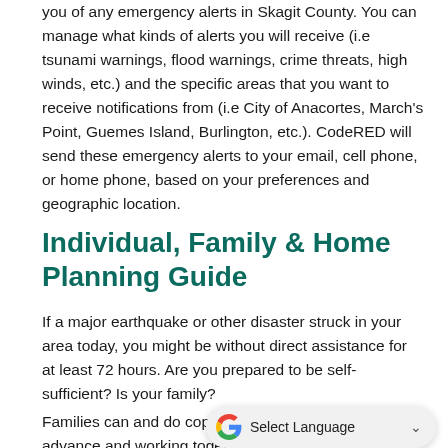you of any emergency alerts in Skagit County. You can manage what kinds of alerts you will receive (i.e tsunami warnings, flood warnings, crime threats, high winds, etc.) and the specific areas that you want to receive notifications from (i.e City of Anacortes, March's Point, Guemes Island, Burlington, etc.). CodeRED will send these emergency alerts to your email, cell phone, or home phone, based on your preferences and geographic location.
Individual, Family & Home Planning Guide
If a major earthquake or other disaster struck in your area today, you might be without direct assistance for at least 72 hours. Are you prepared to be self-sufficient? Is your family?
Families can and do cope with disas... advance and working together as a team. Knowing